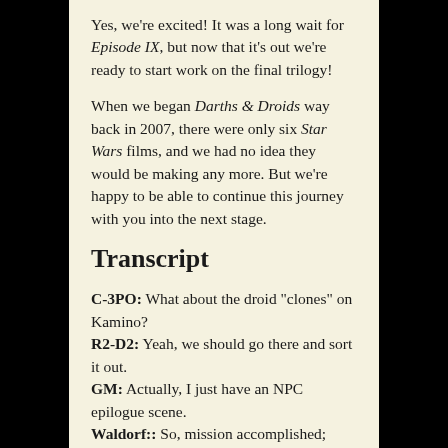Yes, we're excited! It was a long wait for Episode IX, but now that it's out we're ready to start work on the final trilogy!
When we began Darths & Droids way back in 2007, there were only six Star Wars films, and we had no idea they would be making any more. But we're happy to be able to continue this journey with you into the next stage.
Transcript
C-3PO: What about the droid "clones" on Kamino?
R2-D2: Yeah, we should go there and sort it out.
GM: Actually, I just have an NPC epilogue scene.
Waldorf:: So, mission accomplished; we've played the music and we've lit the lights of Order.
Statler:: It's time to embrace the eternal sleep.
Statler:: It's time to...